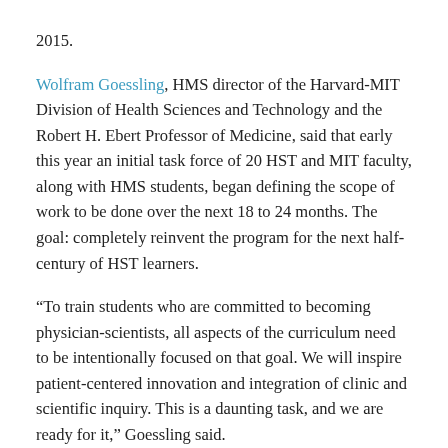2015.
Wolfram Goessling, HMS director of the Harvard-MIT Division of Health Sciences and Technology and the Robert H. Ebert Professor of Medicine, said that early this year an initial task force of 20 HST and MIT faculty, along with HMS students, began defining the scope of work to be done over the next 18 to 24 months. The goal: completely reinvent the program for the next half-century of HST learners.
“To train students who are committed to becoming physician-scientists, all aspects of the curriculum need to be intentionally focused on that goal. We will inspire patient-centered innovation and integration of clinic and scientific inquiry. This is a daunting task, and we are ready for it,” Goessling said.
“If HST is the program at HMS that trains physician-scientists, a science-based curriculum needs to be